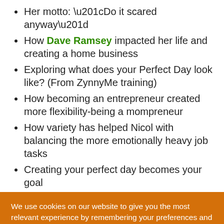Her motto: “Do it scared anyway”
How Dave Ramsey impacted her life and creating a home business
Exploring what does your Perfect Day look like? (From ZynnyMe training)
How becoming an entrepreneur created more flexibility-being a mompreneur
How variety has helped Nicol with balancing the more emotionally heavy job tasks
Creating your perfect day becomes your goal
We use cookies on our website to give you the most relevant experience by remembering your preferences and repeat visits. By clicking “Accept”, you consent to the use of ALL the cookies.
Do not sell my personal information.